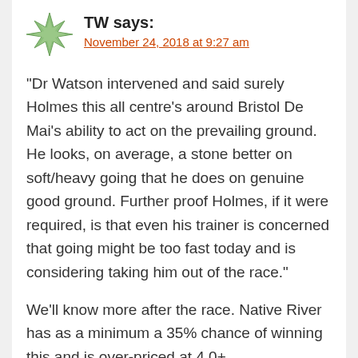[Figure (illustration): Green spiky star/avatar icon for user TW]
TW says:
November 24, 2018 at 9:27 am
“Dr Watson intervened and said surely Holmes this all centre’s around Bristol De Mai’s ability to act on the prevailing ground. He looks, on average, a stone better on soft/heavy going that he does on genuine good ground. Further proof Holmes, if it were required, is that even his trainer is concerned that going might be too fast today and is considering taking him out of the race.”
We’ll know more after the race. Native River has as a minimum a 35% chance of winning this and is over-priced at 4.0+.